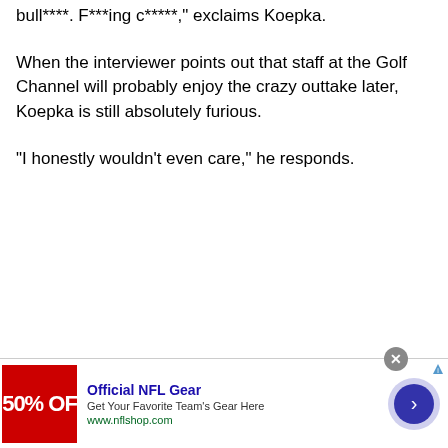bull****. F***ing c*****," exclaims Koepka.
When the interviewer points out that staff at the Golf Channel will probably enjoy the crazy outtake later, Koepka is still absolutely furious.
“I honestly wouldn’t even care,” he responds.
[Figure (other): Advertisement banner: Official NFL Gear - Get Your Favorite Team's Gear Here - www.nflshop.com, with a red image showing '50% OFF', a navigation arrow button, and an AdChoices icon.]